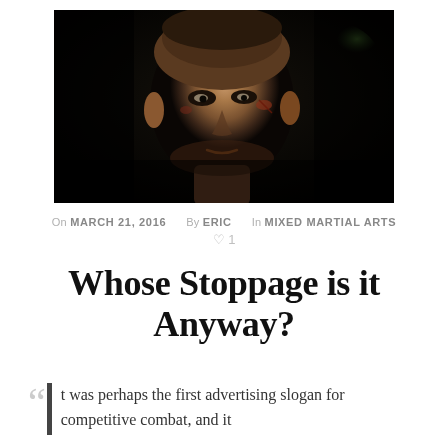[Figure (photo): Close-up portrait of a male MMA fighter with cuts and bruises on his face, dark background, dramatic low-key lighting]
On MARCH 21, 2016   By ERIC   In MIXED MARTIAL ARTS
♡ 1
Whose Stoppage is it Anyway?
It was perhaps the first advertising slogan for competitive combat, and it